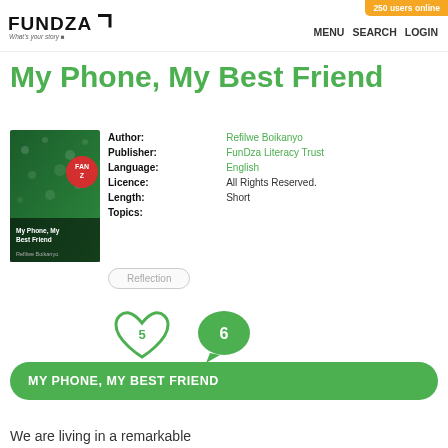FUNDZA — What's your story | MENU SEARCH LOGIN | 250 users online
My Phone, My Best Friend
[Figure (illustration): Book cover for 'My Phone, My Best Friend' by Refilwe Boikanyo, green tones with water droplets, FANZ badge]
| Field | Value |
| --- | --- |
| Author: | Refilwe Boikanyo |
| Publisher: | FunDza Literacy Trust |
| Language: | English |
| Licence: | All Rights Reserved. |
| Length: | Short |
| Topics: |  |
Reflection
5 (likes) | 6 (comments)
Login to Like.
MY PHONE, MY BEST FRIEND
We are living in a remarkable